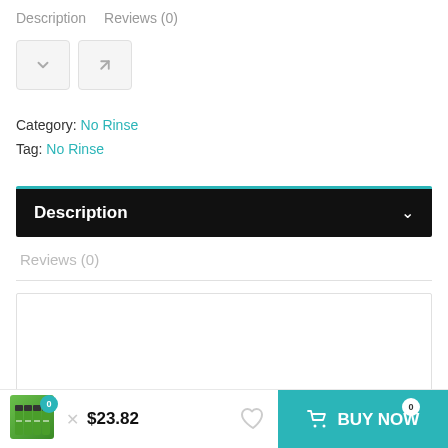Description   Reviews (0)
[Figure (screenshot): Navigation buttons: down chevron button and share/external-link button]
Category: No Rinse
Tag: No Rinse
Description
Reviews (0)
[Figure (other): Empty content box with partial circular shadow at bottom center]
$23.82   BUY NOW